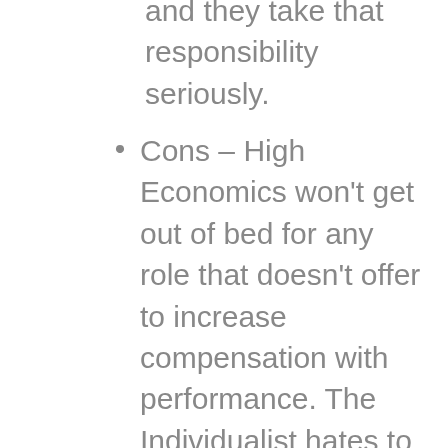and they take that responsibility seriously.
Cons – High Economics won't get out of bed for any role that doesn't offer to increase compensation with performance. The Individualist hates to be stifled and will always prefer to try something new, their way, over repeating the same old way everyone else does it. The high Political is usually hard to manage since they like being in charge as much